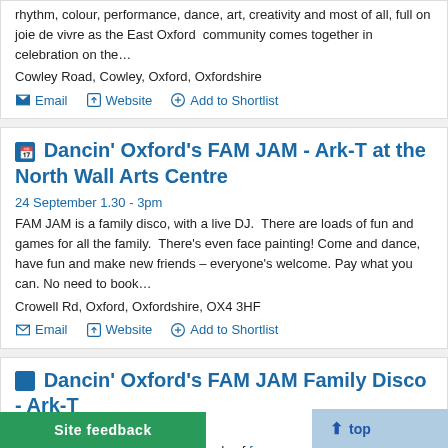rhythm, colour, performance, dance, art, creativity and most of all, full on joie de vivre as the East Oxford community comes together in celebration on the…
Cowley Road, Cowley, Oxford, Oxfordshire
Email   Website   Add to Shortlist
Dancin' Oxford's FAM JAM - Ark-T at the North Wall Arts Centre
24 September 1.30 - 3pm
FAM JAM is a family disco, with a live DJ.  There are loads of fun and games for all the family.  There's even face painting! Come and dance, have fun and make new friends – everyone's welcome. Pay what you can. No need to book…
Crowell Rd, Oxford, Oxfordshire, OX4 3HF
Email   Website   Add to Shortlist
Dancin' Oxford's FAM JAM Family Disco - Ark-T
3:00pm
disco, with a live DJ.  There are loads of fun